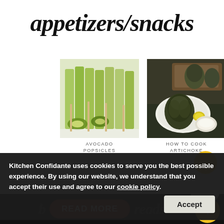appetizers/snacks
[Figure (photo): Green avocado popsicles with celery sticks and lime slices on a white surface]
[Figure (photo): Cooked artichoke on a plate with dipping sauce, artichokes in background on wooden board]
AVOCADO POPSICLES
HOW TO COOK ARTICHOKE
Kitchen Confidante uses cookies to serve you the best possible experience. By using our website, we understand that you accept their use and agree to our cookie policy.
Accept
VIEW ALL
READ MORE